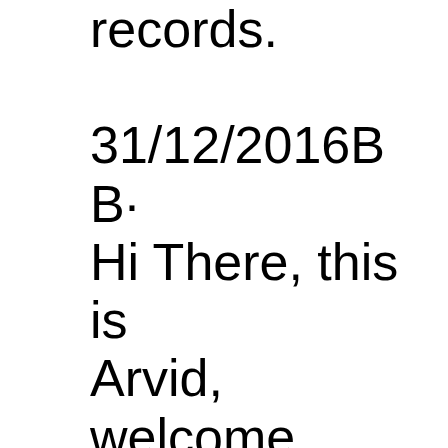records. 31/12/2016B B· Hi There, this is Arvid, welcome to my channel, in this session I am gonna show how to transform FORM to JSON